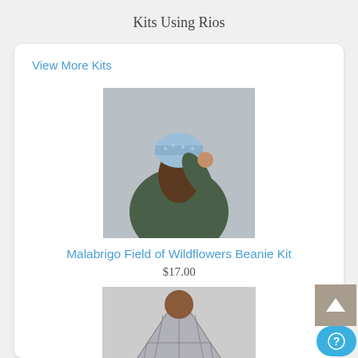Kits Using Rios
View More Kits
[Figure (photo): Person wearing a blue/light beanie knit hat, seen from the back, wearing a dark green jacket, against a grey wall background.]
Malabrigo Field of Wildflowers Beanie Kit
$17.00
[Figure (photo): Person displaying a grey geometric/diamond-patterned knit shawl, seen from the back, holding the shawl open.]
Malabrigo Almina's Sister Shawl Kit